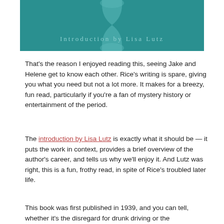[Figure (illustration): Book cover image showing a teal/dark cyan background with a light hourglass or decorative symmetrical shape in the center. Text reads 'Introduction by Lisa Lutz' in spaced serif lettering in a lighter teal color.]
That's the reason I enjoyed reading this, seeing Jake and Helene get to know each other. Rice's writing is spare, giving you what you need but not a lot more. It makes for a breezy, fun read, particularly if you're a fan of mystery history or entertainment of the period.
The introduction by Lisa Lutz is exactly what it should be — it puts the work in context, provides a brief overview of the author's career, and tells us why we'll enjoy it. And Lutz was right, this is a fun, frothy read, in spite of Rice's troubled later life.
This book was first published in 1939, and you can tell, whether it's the disregard for drunk driving or the